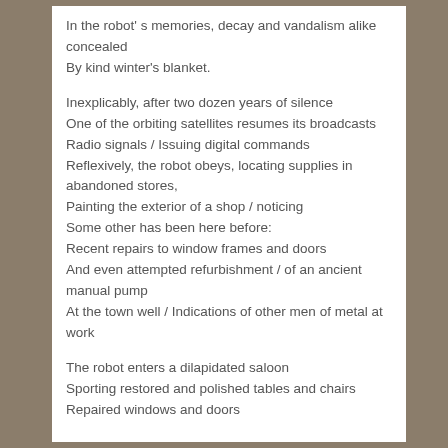In the robot’s memories, decay and vandalism alike concealed
By kind winter’s blanket.
Inexplicably, after two dozen years of silence
One of the orbiting satellites resumes its broadcasts
Radio signals / Issuing digital commands
Reflexively, the robot obeys, locating supplies in abandoned stores,
Painting the exterior of a shop / noticing
Some other has been here before:
Recent repairs to window frames and doors
And even attempted refurbishment / of an ancient manual pump
At the town well / Indications of other men of metal at work
The robot enters a dilapidated saloon
Sporting restored and polished tables and chairs
Repaired windows and doors